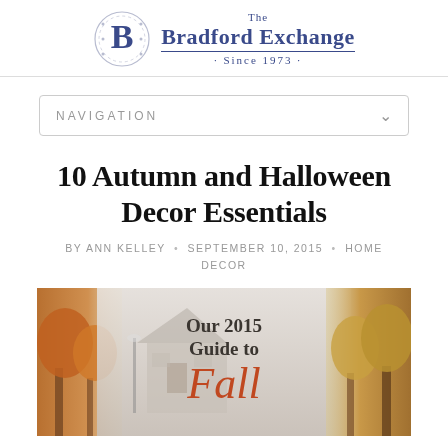The Bradford Exchange · Since 1973 ·
NAVIGATION
10 Autumn and Halloween Decor Essentials
BY ANN KELLEY • SEPTEMBER 10, 2015 • HOME DECOR
[Figure (illustration): Autumn scene with orange trees flanking a house, overlaid with text 'Our 2015 Guide to Fall']